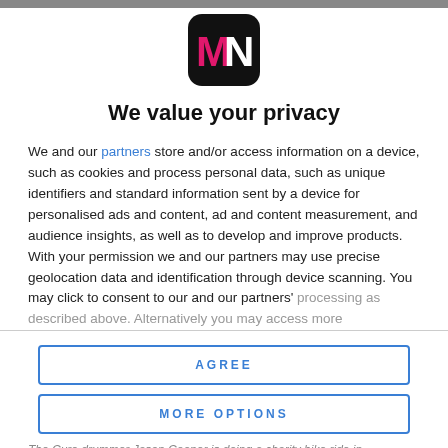[Figure (logo): MN music-news.com logo — black rounded square with pink M and white N letters]
We value your privacy
We and our partners store and/or access information on a device, such as cookies and process personal data, such as unique identifiers and standard information sent by a device for personalised ads and content, ad and content measurement, and audience insights, as well as to develop and improve products. With your permission we and our partners may use precise geolocation data and identification through device scanning. You may click to consent to our and our partners' processing as described above. Alternatively you may access more
AGREE
MORE OPTIONS
The Cure drummer Jason Cooper is doing a charity bike ride in